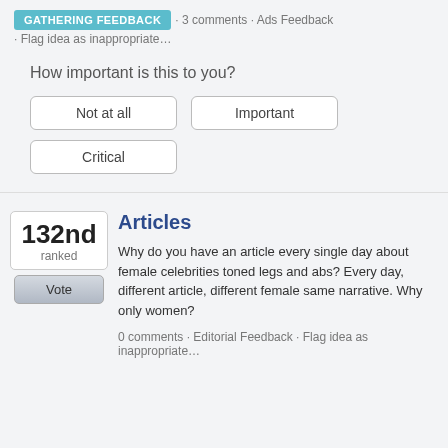GATHERING FEEDBACK · 3 comments · Ads Feedback · Flag idea as inappropriate…
How important is this to you?
Not at all | Important | Critical
132nd ranked
Articles
Why do you have an article every single day about female celebrities toned legs and abs? Every day, different article, different female same narrative. Why only women?
0 comments · Editorial Feedback · Flag idea as inappropriate…